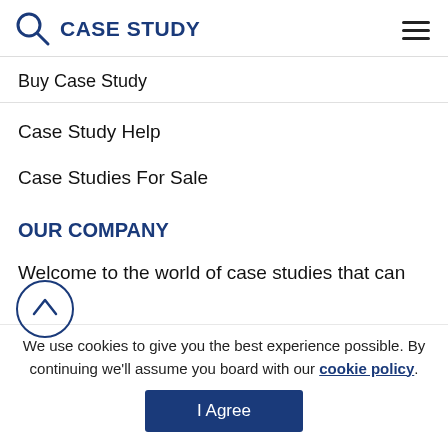CASE STUDY
Buy Case Study
Case Study Help
Case Studies For Sale
OUR COMPANY
Welcome to the world of case studies that can
We use cookies to give you the best experience possible. By continuing we'll assume you board with our cookie policy.
I Agree